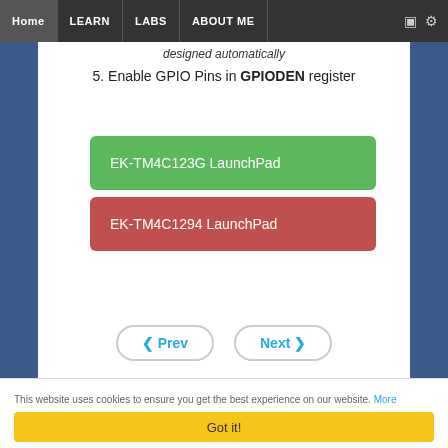Home | LEARN | LABS | ABOUT ME
designed automatically
5. Enable GPIO Pins in GPIODEN register
[Figure (screenshot): Green button labeled EK-TM4C123G LaunchPad]
[Figure (screenshot): Red button labeled EK-TM4C1294 LaunchPad]
Prev | Next
This website uses cookies to ensure you get the best experience on our website. More information
Got it!